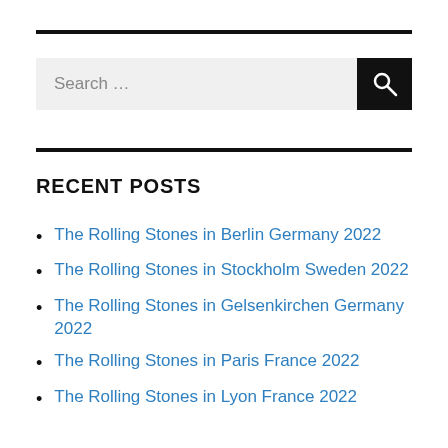[Figure (screenshot): Search bar with text 'Search ...' and a black search button with magnifying glass icon]
RECENT POSTS
The Rolling Stones in Berlin Germany 2022
The Rolling Stones in Stockholm Sweden 2022
The Rolling Stones in Gelsenkirchen Germany 2022
The Rolling Stones in Paris France 2022
The Rolling Stones in Lyon France 2022